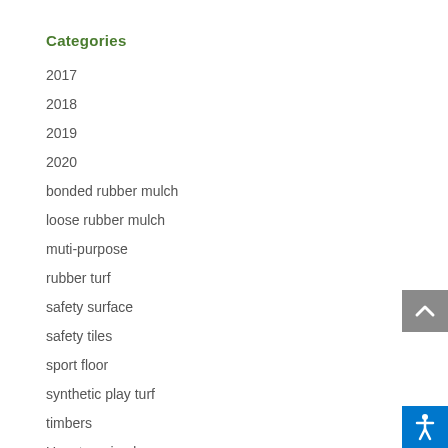Categories
2017
2018
2019
2020
bonded rubber mulch
loose rubber mulch
muti-purpose
rubber turf
safety surface
safety tiles
sport floor
synthetic play turf
timbers
Uncategorized